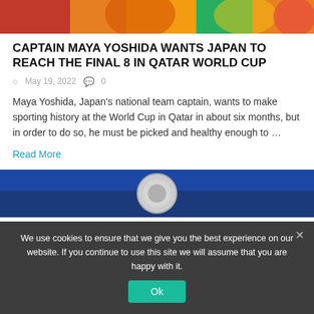[Figure (photo): Sports fans/players photograph at top of article]
CAPTAIN MAYA YOSHIDA WANTS JAPAN TO REACH THE FINAL 8 IN QATAR WORLD CUP
May 19, 2022   0
Maya Yoshida, Japan's national team captain, wants to make sporting history at the World Cup in Qatar in about six months, but in order to do so, he must be picked and healthy enough to …
Read More
[Figure (photo): Partial image showing a blue background with a circular emblem/crest]
We use cookies to ensure that we give you the best experience on our website. If you continue to use this site we will assume that you are happy with it.